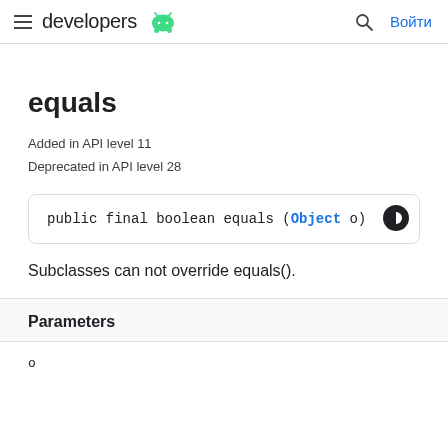developers | Войти
equals
Added in API level 11
Deprecated in API level 28
Subclasses can not override equals().
Parameters
o